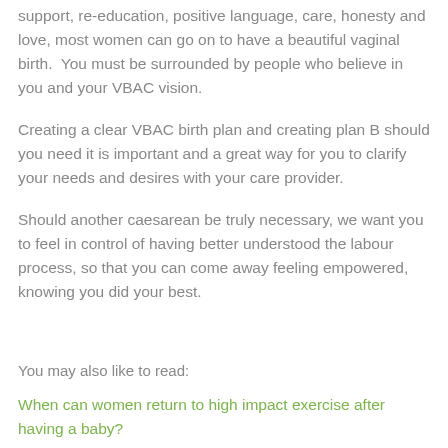support, re-education, positive language, care, honesty and love, most women can go on to have a beautiful vaginal birth.  You must be surrounded by people who believe in you and your VBAC vision.
Creating a clear VBAC birth plan and creating plan B should you need it is important and a great way for you to clarify your needs and desires with your care provider.
Should another caesarean be truly necessary, we want you to feel in control of having better understood the labour process, so that you can come away feeling empowered, knowing you did your best.
You may also like to read:
When can women return to high impact exercise after having a baby?